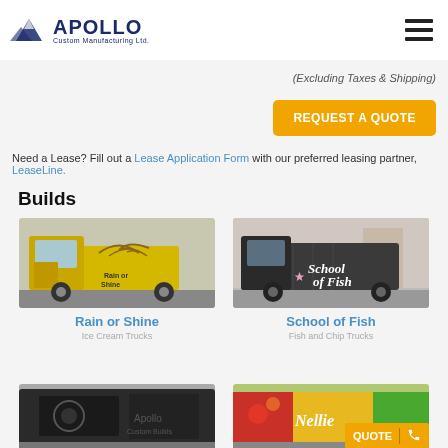[Figure (logo): Apollo Custom Manufacturing Ltd. logo with mountain peaks icon]
(Excluding Taxes & Shipping)
REQUEST A QUOTE
Need a Lease? Fill out a Lease Application Form with our preferred leasing partner, LeaseLine.
Builds
[Figure (photo): Yellow food truck with bird graphic - Rain or Shine]
Rain or Shine
Ice Cream Trucks
[Figure (photo): Dark grey food truck - School of Fish]
School of Fish
Fish and Chip Trucks
[Figure (photo): Black food truck - partial view]
[Figure (photo): Colorful food truck with Nellie branding - partial view]
QUOTE